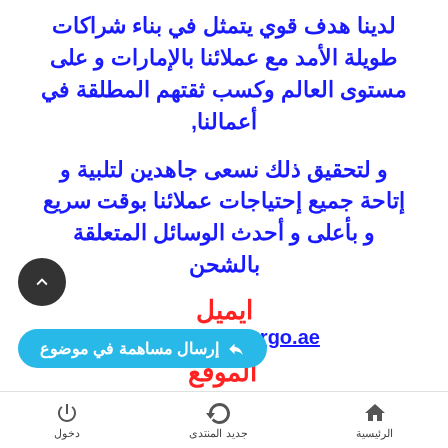لدينا هدف قوي يتمثل في بناء شراكات طويلة الأمد مع عملائنا بالإمارات و على مستوى العالم وكسب ثقتهم المطلقة في أعمالنا,
و لتحقيق ذلك نسعى جاهدين لتلبية و إتاحة جميع إحتياجات عملائنا بوقت سريع و بأعلى و أحدث الوسائل المتعلقة بالشحن
ايميل
Info@aryancargo.ae
الموقع
https://aryancargo.ae/ar
دخول | جديد المنتدى | الرئيسية